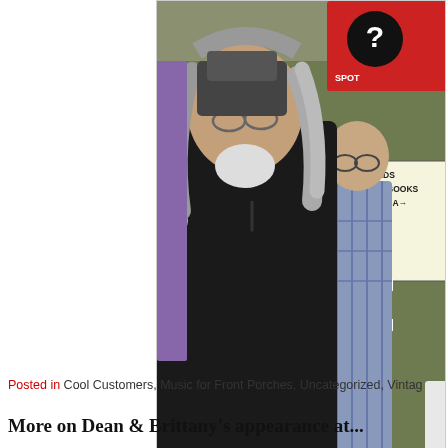[Figure (photo): Outdoor photo of Tommy Ramone (large man with gray hair and beard, wearing black hoodie) and Dean Wareham standing near a white picket fence. In the background is a red sign reading 'Mystery Spot' with records, vintage clothing, books listed. Another man in blue plaid shirt is visible behind them.]
Tommy Ramone and Dean Wareham. Tommy's band Uncle Monk will be playing on the Mystery Spot's front porch next Sunday (Aug. 22) at 2
Posted in Cool Customers, Music for Front Porches, Uncategorized, Vintag...
More on Dean & Brittany's appearance at...